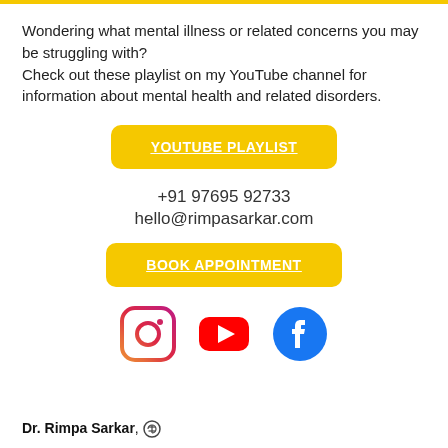Wondering what mental illness or related concerns you may be struggling with?
Check out these playlist on my YouTube channel for information about mental health and related disorders.
[Figure (other): Yellow button labeled YOUTUBE PLAYLIST]
+91 97695 92733
hello@rimpasarkar.com
[Figure (other): Yellow button labeled BOOK APPOINTMENT]
[Figure (other): Social media icons: Instagram, YouTube, Facebook]
Dr. Rimpa Sarkar, (WordPress logo)